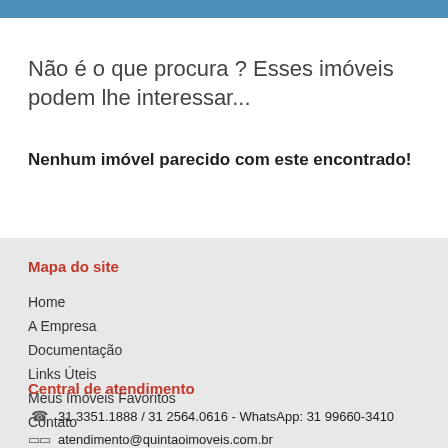Não é o que procura ? Esses imóveis podem lhe interessar...
Nenhum imóvel parecido com este encontrado!
Mapa do site
Home
A Empresa
Documentação
Links Úteis
Meus Imóveis Favoritos
Contato
Central de atendimento
31 3351.1888 / 31 2564.0616 - WhatsApp: 31 99660-3410
atendimento@quintaoimoveis.com.br